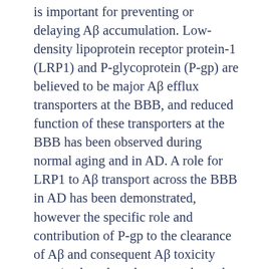is important for preventing or delaying Aβ accumulation. Low-density lipoprotein receptor protein-1 (LRP1) and P-glycoprotein (P-gp) are believed to be major Aβ efflux transporters at the BBB, and reduced function of these transporters at the BBB has been observed during normal aging and in AD. A role for LRP1 to Aβ transport across the BBB in AD has been demonstrated, however the specific role and contribution of P-gp to the clearance of Aβ and consequent Aβ toxicity remains largely unknown and poorly defined. Understanding the role of P-gp to Aβ regulation is essential not only for understanding the basis for Aβ fluxes in the brain, but also because it may identify novel roles for P-gp in modulating specific forms or species of Aβ, or potentially serving as a basis for